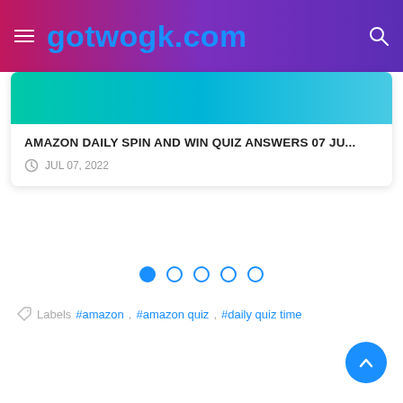gotwogk.com
AMAZON DAILY SPIN AND WIN QUIZ ANSWERS 07 JU...
JUL 07, 2022
[Figure (other): Pagination dots: 5 circles, first one filled blue, rest hollow]
Labels  #amazon,  #amazon quiz,  #daily quiz time